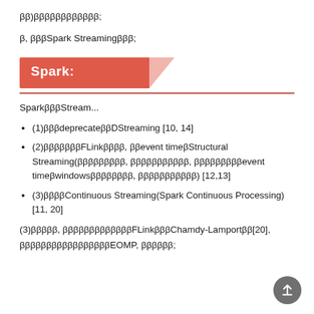ββ)ββββββββββββ;
β, βββSpark Streamingβββ;
Spark:
SparkβββStream...
(1)βββdeprecateββDStreaming [10, 14]
(2)βββββββFLinkββββ, ββevent timeβStructural Streaming(βββββββββ, βββββββββββ, βββββββββevent timeβwindowsββββββββ, βββββββββββ) [12,13]
(3)ββββContinuous Streaming(Spark Continuous Processing) [11, 20]
(3)βββββ, βββββββββββββFLinkβββChamdy-LamportββΈ[20], βββββββββββββββββEOMP, ββββββ;